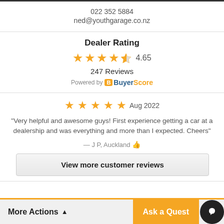022 352 5884
ned@youthgarage.co.nz
Dealer Rating
[Figure (infographic): Star rating display showing 4.65 out of 5 with 4 full gold stars and 1 half star, labeled 4.65. Below: 247 Reviews. Powered by BuyerScore logo.]
[Figure (infographic): 5 full gold stars with date Aug 2022. Review text: 'Very helpful and awesome guys! First experience getting a car at a dealership and was everything and more than I expected. Cheers' — J P, Auckland with thumbs up icon.]
View more customer reviews
More Actions
Ask a Quest...